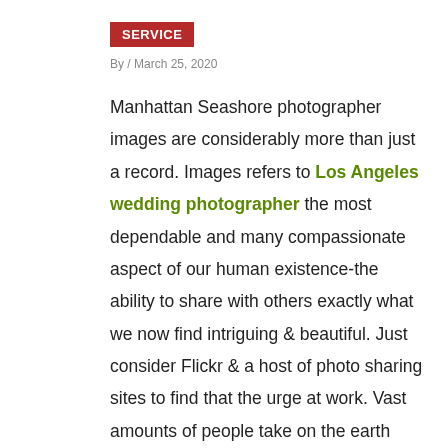SERVICE
By / March 25, 2020
Manhattan Seashore photographer images are considerably more than just a record. Images refers to Los Angeles wedding photographer the most dependable and many compassionate aspect of our human existence-the ability to share with others exactly what we now find intriguing & beautiful. Just consider Flickr & a host of photo sharing sites to find that the urge at work. Vast amounts of people take on the earth around those discussing their own intimate, passionate, and usually unique appearance. The pics of the entire lives may involve a couple of strangers.